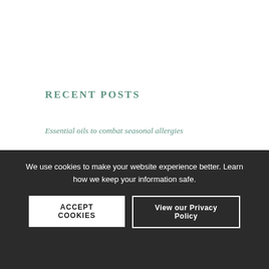RECENT POSTS
Essential oils to combat seasonal allergies
Make your own spring tonic tea
The top 10 essential oils
Oh Cann-a-bis
Get to know nettles: benefits of this wonder herb
We use cookies to make your website experience better. Learn how we keep your information safe.
ACCEPT COOKIES
View our Privacy Policy